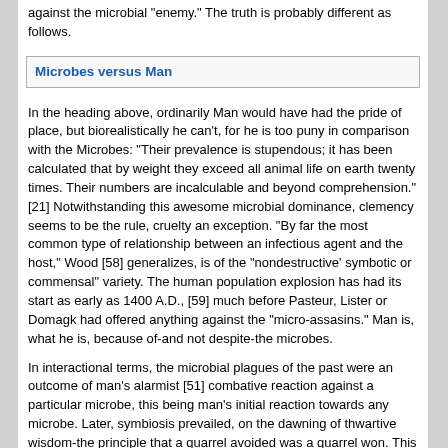against the microbial "enemy." The truth is probably different as follows.
Microbes versus Man
In the heading above, ordinarily Man would have had the pride of place, but biorealistically he can't, for he is too puny in comparison with the Microbes: "Their prevalence is stupendous; it has been calculated that by weight they exceed all animal life on earth twenty times. Their numbers are incalculable and beyond comprehension." [21] Notwithstanding this awesome microbial dominance, clemency seems to be the rule, cruelty an exception. "By far the most common type of relationship between an infectious agent and the host," Wood [58] generalizes, is of the "nondestructive' symbotic or commensal" variety. The human population explosion has had its start as early as 1400 A.D., [59] much before Pasteur, Lister or Domagk had offered anything against the "micro-assasins." Man is, what he is, because of-and not despite-the microbes.
In interactional terms, the microbial plagues of the past were an outcome of man's alarmist [51] combative reaction against a particular microbe, this being man's initial reaction towards any microbe. Later, symbiosis prevailed, on the dawning of thwartive wisdom-the principle that a quarrel avoided was a quarrel won. This axiom had its most impressive application-"the greatest lifesaving achievement in medical history" [56] -in the simple practices of